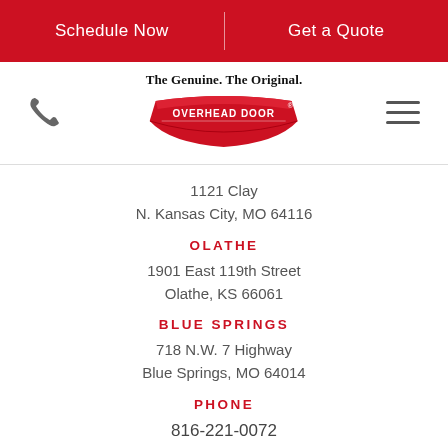Schedule Now | Get a Quote
[Figure (logo): Overhead Door logo with banner reading 'The Genuine. The Original. OVERHEAD DOOR']
1121 Clay
N. Kansas City, MO 64116
OLATHE
1901 East 119th Street
Olathe, KS 66061
BLUE SPRINGS
718 N.W. 7 Highway
Blue Springs, MO 64014
PHONE
816-221-0072